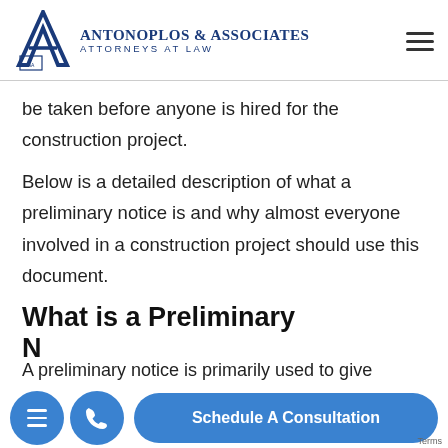Antonoplos & Associates Attorneys at Law
be taken before anyone is hired for the construction project.
Below is a detailed description of what a preliminary notice is and why almost everyone involved in a construction project should use this document.
What is a Preliminary Notice?
A preliminary notice is primarily used to give